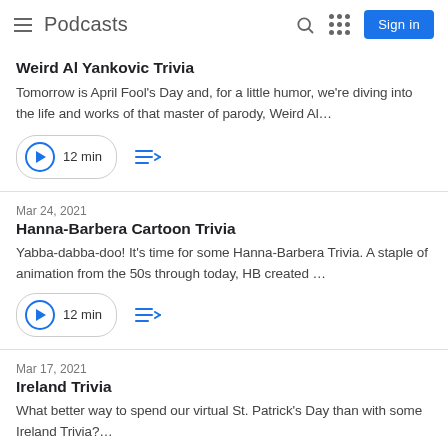Podcasts
Weird Al Yankovic Trivia
Tomorrow is April Fool's Day and, for a little humor, we're diving into the life and works of that master of parody, Weird Al…
12 min
Hanna-Barbera Cartoon Trivia
Mar 24, 2021
Yabba-dabba-doo! It's time for some Hanna-Barbera Trivia. A staple of animation from the 50s through today, HB created …
12 min
Ireland Trivia
Mar 17, 2021
What better way to spend our virtual St. Patrick's Day than with some Ireland Trivia?…